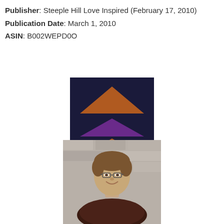Publisher: Steeple Hill Love Inspired (February 17, 2010)
Publication Date: March 1, 2010
ASIN: B002WEPD0O
[Figure (logo): Publisher logo: dark navy square background with three triangles stacked — top triangle orange/brown, middle triangle purple, bottom triangle orange/brown]
[Figure (photo): Portrait photo of a smiling middle-aged woman with short brown hair and glasses, wearing a dark patterned top, standing in front of a stone/brick wall background]